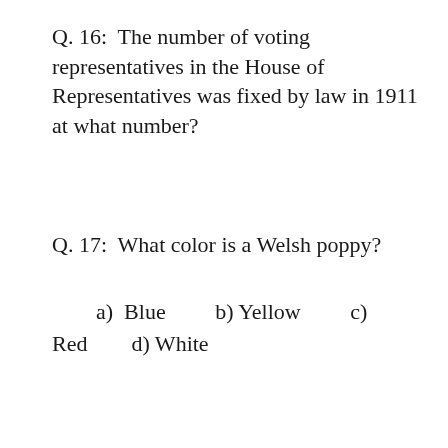Q. 16:  The number of voting representatives in the House of Representatives was fixed by law in 1911 at what number?
Q. 17:  What color is a Welsh poppy?
a)  Blue          b) Yellow          c) Red          d) White